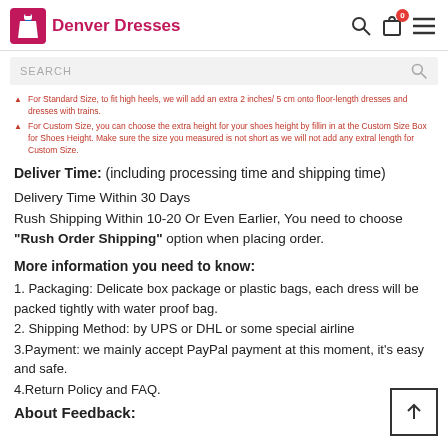Denver Dresses
SEARCH
For Standard Size, to fit high heels, we will add an extra 2 inches/ 5 cm onto floor-length dresses and dresses with trains.
For Custom Size, you can choose the extra height for your shoes height by filling in at the Custom Size Box for Shoes Height. Make sure the size you measured is not short as we will not add any extral length for Custom Size.
Deliver Time: (including processing time and shipping time)
Delivery Time Within 30 Days
Rush Shipping Within 10-20 Or Even Earlier, You need to choose "Rush Order Shipping" option when placing order.
More information you need to know:
1. Packaging: Delicate box package or plastic bags, each dress will be packed tightly with water proof bag.
2. Shipping Method: by UPS or DHL or some special airline
3.Payment: we mainly accept PayPal payment at this moment, it's easy and safe.
4.Return Policy and FAQ.
About Feedback: